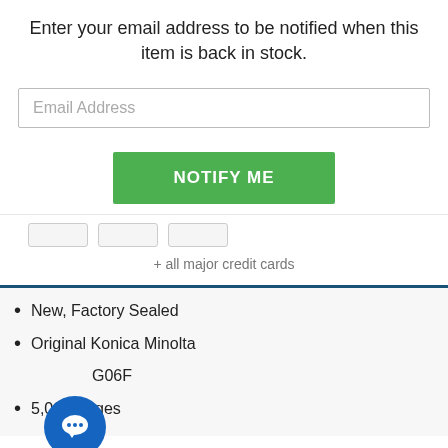Enter your email address to be notified when this item is back in stock.
Email Address
NOTIFY ME
+ all major credit cards
New, Factory Sealed
Original Konica Minolta
G06F
5,000 Pages